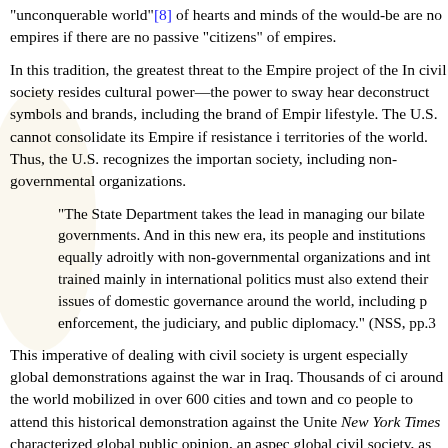"unconquerable world"[8] of hearts and minds of the would-be are no empires if there are no passive "citizens" of empires.
In this tradition, the greatest threat to the Empire project of the In civil society resides cultural power—the power to sway hear deconstruct symbols and brands, including the brand of Empir lifestyle. The U.S. cannot consolidate its Empire if resistance i territories of the world. Thus, the U.S. recognizes the importan society, including non-governmental organizations.
"The State Department takes the lead in managing our bilate governments. And in this new era, its people and institutions equally adroitly with non-governmental organizations and int trained mainly in international politics must also extend their issues of domestic governance around the world, including p enforcement, the judiciary, and public diplomacy." (NSS, pp.3
This imperative of dealing with civil society is urgent especially global demonstrations against the war in Iraq. Thousands of ci around the world mobilized in over 600 cities and town and co people to attend this historical demonstration against the Unite New York Times characterized global public opinion, an aspec global civil society, as the "second global superpower".
Suppression of Internal Dissent